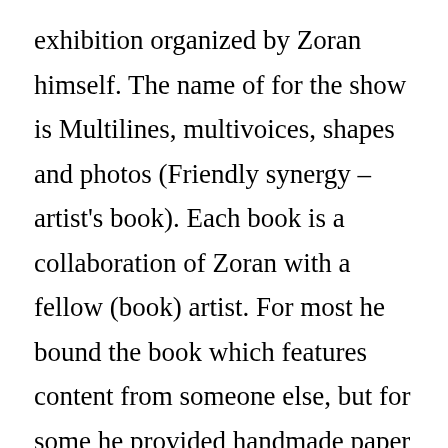exhibition organized by Zoran himself. The name of for the show is Multilines, multivoices, shapes and photos (Friendly synergy – artist's book). Each book is a collaboration of Zoran with a fellow (book) artist. For most he bound the book which features content from someone else, but for some he provided handmade paper or a similar component, and the book was finished by the other artist.
It started in October 2013 in Đurđevac, and is